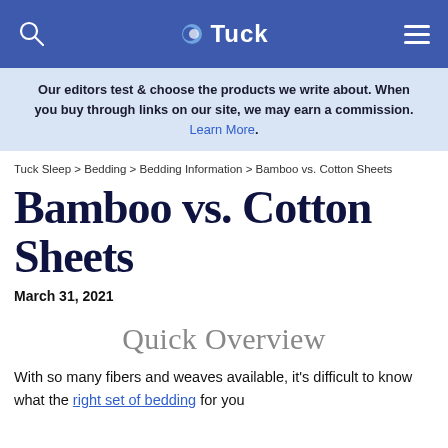Tuck
Our editors test & choose the products we write about. When you buy through links on our site, we may earn a commission. Learn More.
Tuck Sleep > Bedding > Bedding Information > Bamboo vs. Cotton Sheets
Bamboo vs. Cotton Sheets
March 31, 2021
Quick Overview
With so many fibers and weaves available, it's difficult to know what the right set of bedding for you